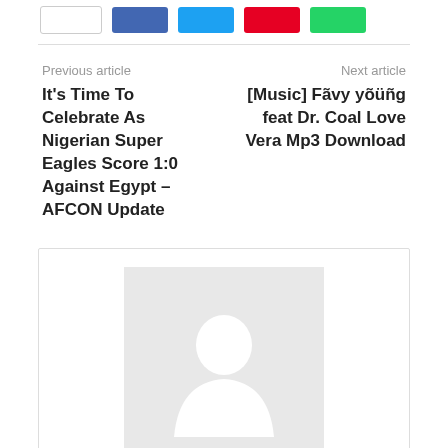[Figure (infographic): Social share buttons row: white box, Facebook blue button, Twitter cyan button, Pinterest red button, WhatsApp green button]
Previous article
It's Time To Celebrate As Nigerian Super Eagles Score 1:0 Against Egypt – AFCON Update
Next article
[Music] Fãvy yõüñg feat Dr. Coal Love Vera Mp3 Download
[Figure (photo): Author avatar placeholder image – grey background with white silhouette of a person]
Aekay De Blogger
https://africanblog.com.ng
AMACKABID BABILI The Facebook Also The 950